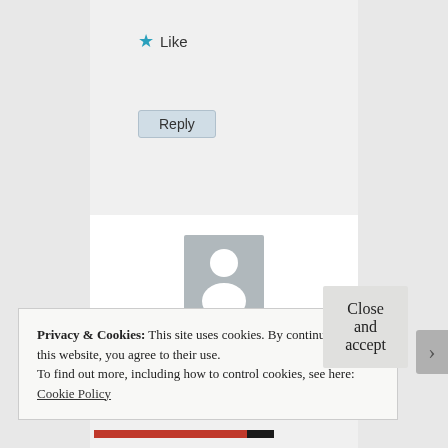[Figure (other): Like button with star icon]
[Figure (other): Reply button]
[Figure (other): User profile card with avatar placeholder and username kurenai_tenka]
Privacy & Cookies: This site uses cookies. By continuing to use this website, you agree to their use.
To find out more, including how to control cookies, see here: Cookie Policy
Close and accept